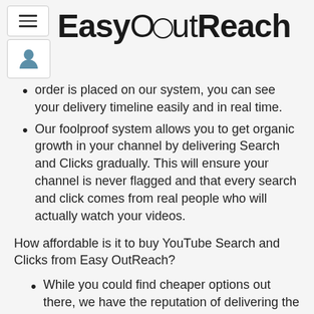EasyOutReach
order is placed on our system, you can see your delivery timeline easily and in real time.
Our foolproof system allows you to get organic growth in your channel by delivering Search and Clicks gradually. This will ensure your channel is never flagged and that every search and click comes from real people who will actually watch your videos.
How affordable is it to buy YouTube Search and Clicks from Easy OutReach?
While you could find cheaper options out there, we have the reputation of delivering the best marketing results for every digital platform,